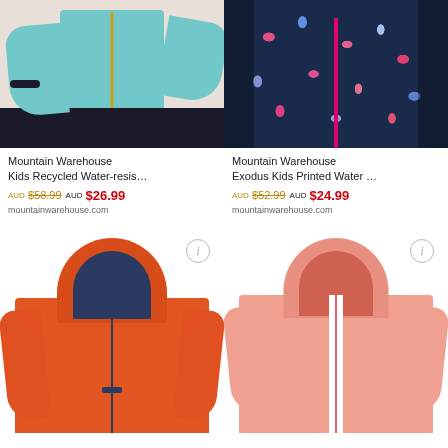[Figure (photo): Child wearing a teal/aqua water-resistant jacket with gold zipper, standing outside]
Mountain Warehouse Kids Recycled Water-resis…
AUD $58.99 AUD $26.99
mountainwarehouse.com
[Figure (photo): Dark navy blue floral printed kids water-resistant jacket with pink zipper, product shot]
Mountain Warehouse Exodus Kids Printed Water …
AUD $52.99 AUD $24.99
mountainwarehouse.com
[Figure (photo): Orange kids softshell jacket with navy hood lining, product shot]
[Figure (photo): Salmon/coral pink kids water-resistant jacket with white zip guard, product shot]